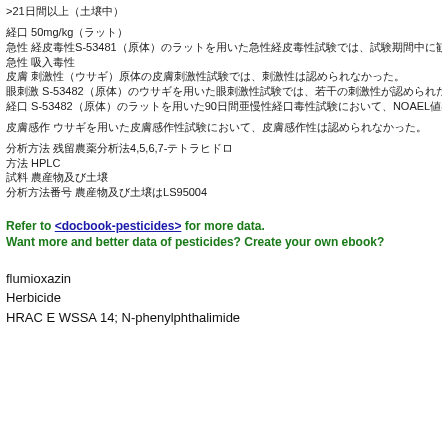>21日間以上（土壌中）
経口 50mg/kg（ラット）
急性 経皮毒性S-53481（原体）のラットを用いた急性経皮毒性試験では、試験期間中に観察される毒性症状はいずれも一過性であり、試験開始24~48時間後には回復することが確認された。
急性 吸入毒性
皮膚 刺激性（ウサギ）原体の皮膚刺激性試験では、刺激性は認められなかった。
眼刺激 S-53482（原体）のウサギを用いた眼刺激性試験では、若干の刺激性が認められたが、いずれのサンプルについてもS-53482原体
経口 S-53482（原体）のラットを用いた90日間亜慢性経口毒性試験において、NOAEL値は50~100mg/kg/日であった。マウスを用いた4~6ヶ月
皮膚感作 ウサギを用いた皮膚感作性試験において、皮膚感作性は認められなかった。
分析方法 残留農薬分析法4,5,6,7-テトラヒドロ
方法 HPLC
試料 農産物及び土壌
分析方法番号 農産物及び土壌はLS95004
Refer to <docbook-pesticides> for more data.
Want more and better data of pesticides? Create your own ebook?
flumioxazin
Herbicide
HRAC E WSSA 14; N-phenylphthalimide